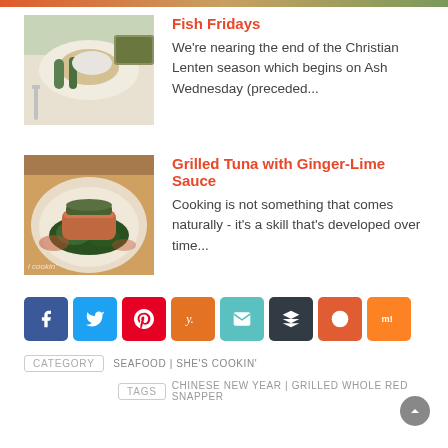[Figure (photo): Food photo of a fish dish with greens on a white plate with fork]
Fish Fridays
We're nearing the end of the Christian Lenten season which begins on Ash Wednesday (preceded...
[Figure (photo): Food photo of grilled tuna with sauce on a plate with greens, watermark 'i cookin']
Grilled Tuna with Ginger-Lime Sauce
Cooking is not something that comes naturally - it's a skill that's developed over time...
[Figure (infographic): Row of 8 social share buttons: Facebook, Twitter, Pinterest, Yummly, Email, Buffer, Reddit, Mix]
CATEGORY  SEAFOOD | SHE'S COOKIN'
TAGS  CHINESE NEW YEAR | GRILLED WHOLE RED SNAPPER